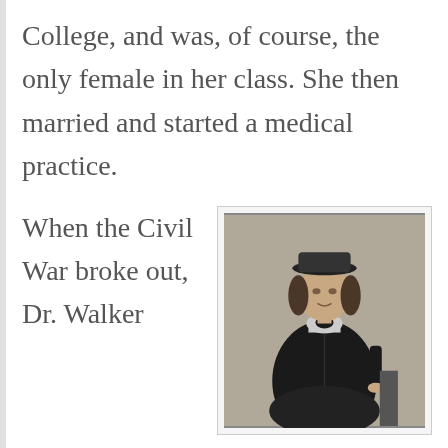College, and was, of course, the only female in her class. She then married and started a medical practice.
When the Civil War broke out, Dr. Walker
[Figure (photo): Black and white historical photograph of Dr. Mary Walker standing in a dark dress with white collar and a hat]